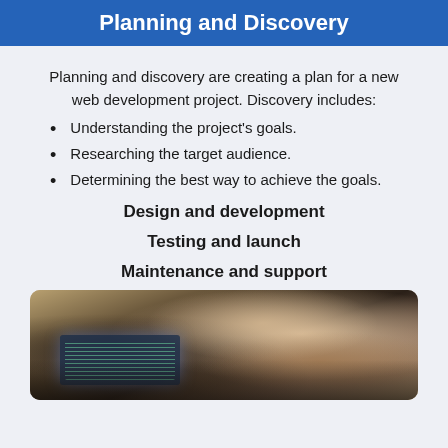Planning and Discovery
Planning and discovery are creating a plan for a new web development project. Discovery includes:
Understanding the project's goals.
Researching the target audience.
Determining the best way to achieve the goals.
Design and development
Testing and launch
Maintenance and support
[Figure (photo): Two people working at computers in an office setting, blurred background with monitors showing code]